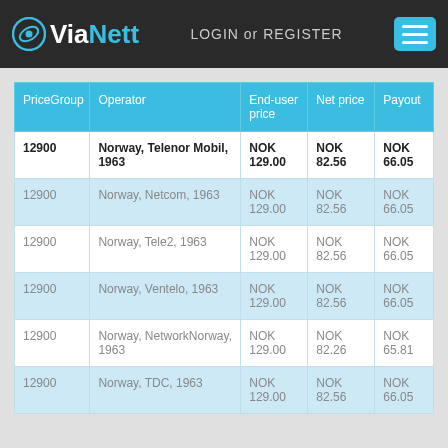ViaNett  LOGIN or REGISTER
| PriceGroup | Operator | End-user price | Net price | Payout |
| --- | --- | --- | --- | --- |
| 12900 | Norway, Telenor Mobil, 1963 | NOK 129.00 | NOK 82.56 | NOK 66.05 |
| 12900 | Norway, Netcom, 1963 | NOK 129.00 | NOK 82.56 | NOK 66.05 |
| 12900 | Norway, Tele2, 1963 | NOK 129.00 | NOK 82.56 | NOK 66.05 |
| 12900 | Norway, Ventelo, 1963 | NOK 129.00 | NOK 82.56 | NOK 66.05 |
| 12900 | Norway, NetworkNorway, 1963 | NOK 129.00 | NOK 82.26 | NOK 65.81 |
| 12900 | Norway, TDC, 1963 | NOK 129.00 | NOK 82.56 | NOK 66.05 |